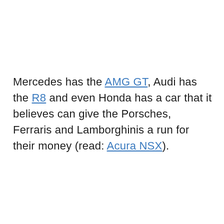Mercedes has the AMG GT, Audi has the R8 and even Honda has a car that it believes can give the Porsches, Ferraris and Lamborghinis a run for their money (read: Acura NSX).